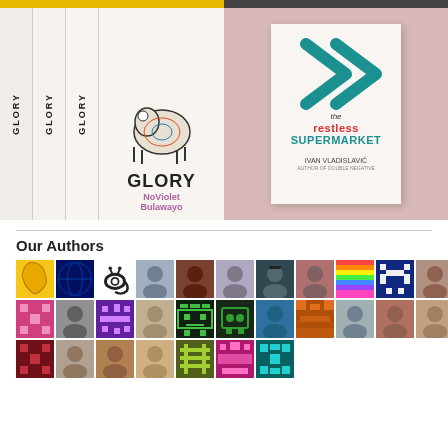[Figure (photo): Multiple copies of the book 'GLORY' by NoViolet Bulawayo showing spines and front cover with illustrated goat]
[Figure (photo): Book cover of 'the restless SUPERMARKET' by Ivan Vladislavic on pink fabric background]
Our Authors
[Figure (infographic): Grid of author avatar icons and photos, 3 rows of approximately 11 icons each]